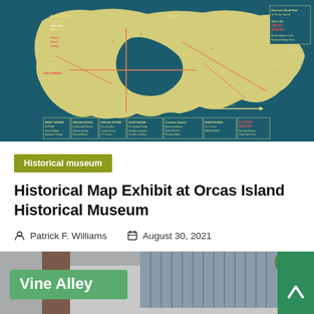[Figure (map): Vintage illustrated road map of Orcas Island, Washington, with teal/dark blue background and yellow landmass showing place names, roads, points of interest, and decorative illustrations. The map includes labels such as West Sound Store, Orcas Hotel, Orcas Store, Our House, various lodges and landmarks, with text noting 'To Anacortes' and 'To Bellingham'. A legend/key appears on the right side.]
Historical museum
Historical Map Exhibit at Orcas Island Historical Museum
Patrick F. Williams   August 30, 2021
[Figure (photo): Street-level photograph showing a Vine Alley street sign in green with white text, brick building facades, and a green scroll-to-top button on the right edge.]